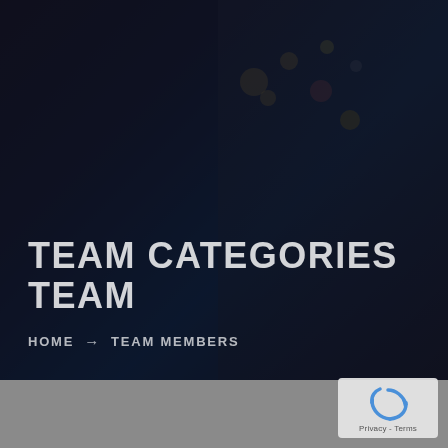[Figure (photo): Dark hero background image showing a woman looking at a phone in a dimly lit environment with bokeh lights in the background. Image has a dark overlay applied.]
TEAM CATEGORIES TEAM
HOME → TEAM MEMBERS
[Figure (logo): Google reCAPTCHA badge in the bottom right corner with the reCAPTCHA logo (blue arrows forming a circle) and Privacy - Terms text below.]